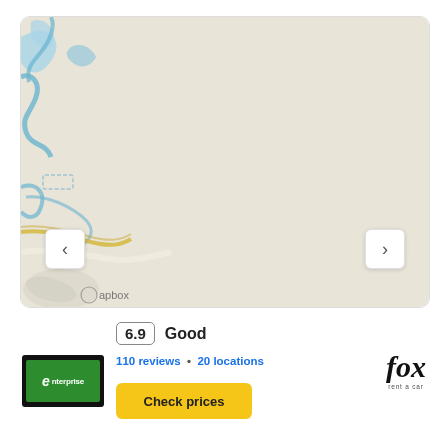[Figure (map): A Mapbox map showing a mostly empty beige/tan area with blue waterways and a few road lines in the upper-left corner. Navigation arrows on left and right sides.]
6.9  Good
110 reviews • 20 locations
[Figure (logo): Enterprise Rent-A-Car logo — white 'e' and 'enterprise' text on green background with black border]
[Figure (logo): Fox Rent A Car logo — italic bold 'fox' text with 'rent a car' subtitle]
Check prices